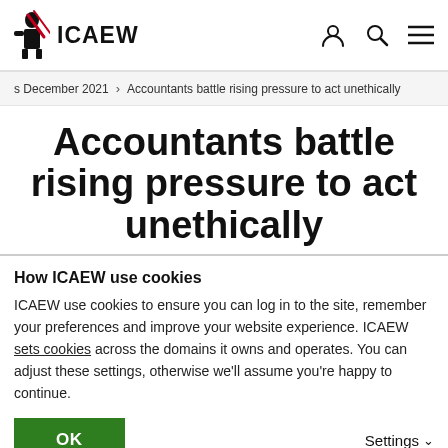ICAEW
s December 2021 > Accountants battle rising pressure to act unethically
Accountants battle rising pressure to act unethically
How ICAEW use cookies
ICAEW use cookies to ensure you can log in to the site, remember your preferences and improve your website experience. ICAEW sets cookies across the domains it owns and operates. You can adjust these settings, otherwise we'll assume you're happy to continue.
OK
Settings